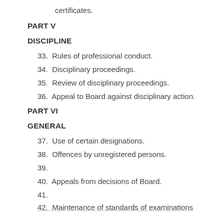certificates.
PART V
DISCIPLINE
33. Rules of professional conduct.
34. Disciplinary proceedings.
35. Review of disciplinary proceedings.
36. Appeal to Board against disciplinary action.
PART VI
GENERAL
37. Use of certain designations.
38. Offences by unregistered persons.
39.
40. Appeals from decisions of Board.
41.
42. Maintenance of standards of examinations